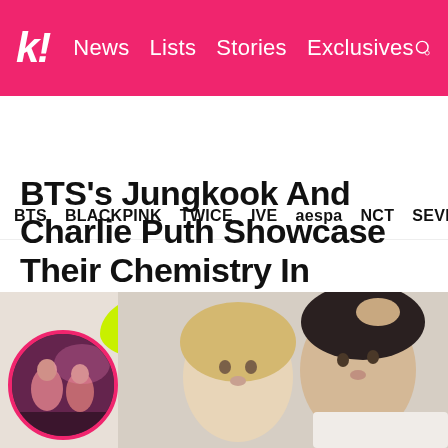k! News Lists Stories Exclusives
BTS BLACKPINK TWICE IVE aespa NCT SEVE
BTS’s Jungkook And Charlie Puth Showcase Their Chemistry In Teasers For Collaboration Single “Left And Right”
They’re friendship goals!
[Figure (photo): Circle thumbnail showing two people in dark setting with pink/purple lighting, and main promotional photo of Charlie Puth and Jungkook lying down side by side on white background with yellow decorative element]